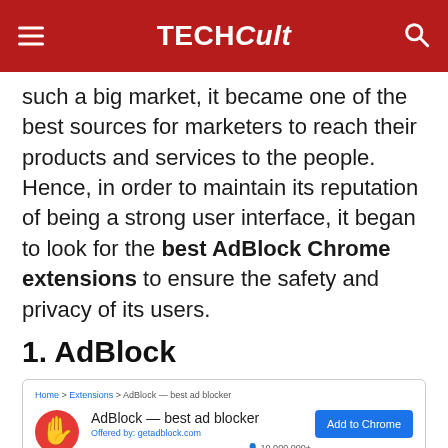TECHCult
such a big market, it became one of the best sources for marketers to reach their products and services to the people. Hence, in order to maintain its reputation of being a strong user interface, it began to look for the best AdBlock Chrome extensions to ensure the safety and privacy of its users.
1. AdBlock
[Figure (screenshot): Chrome Web Store listing for AdBlock — best ad blocker extension. Breadcrumb: Home > Extensions > AdBlock — best ad blocker. Shows extension icon, title, offered by getadblock.com, star rating 4.5 stars, 396,743 ratings, Productivity category, 10,000,000+ users. Blue 'Add to Chrome' button on right.]